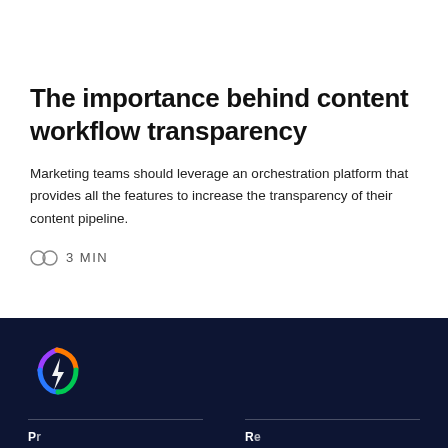[Figure (photo): Photo of a person working at a laptop on a wooden desk, cropped to show just the top portion]
The importance behind content workflow transparency
Marketing teams should leverage an orchestration platform that provides all the features to increase the transparency of their content pipeline.
3 MIN
[Figure (logo): Colorful swirl/bolt logo mark in purple, orange, and blue/green on dark navy background]